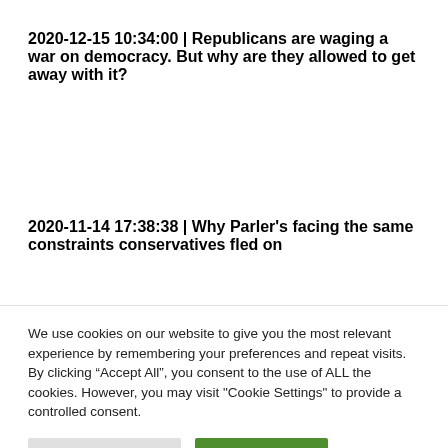2020-12-15 10:34:00 | Republicans are waging a war on democracy. But why are they allowed to get away with it?
2020-11-14 17:38:38 | Why Parler's facing the same constraints conservatives fled on
We use cookies on our website to give you the most relevant experience by remembering your preferences and repeat visits. By clicking “Accept All”, you consent to the use of ALL the cookies. However, you may visit "Cookie Settings" to provide a controlled consent.